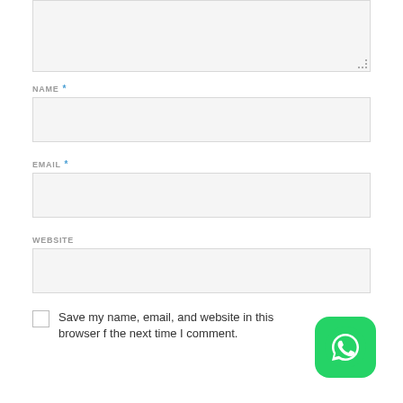[Figure (screenshot): Partial textarea form field with resize handle at bottom right, shown as a light gray box]
NAME *
[Figure (screenshot): Name input field, empty, light gray background]
EMAIL *
[Figure (screenshot): Email input field, empty, light gray background]
WEBSITE
[Figure (screenshot): Website input field, empty, light gray background]
Save my name, email, and website in this browser for the next time I comment.
[Figure (logo): WhatsApp icon button, green rounded square with white speech bubble phone logo]